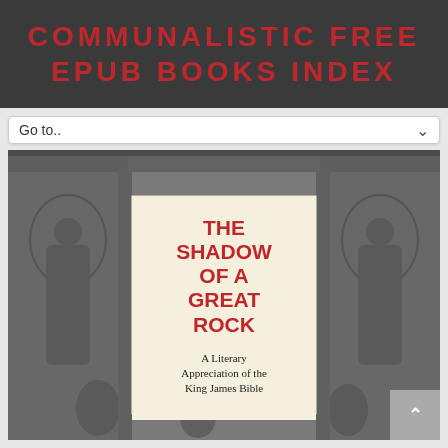COMMUNALISTIC FREE EPUB BOOKS INDEX
Go to..
[Figure (illustration): Book cover for 'The Shadow of a Great Rock: A Literary Appreciation of the King James Bible', shown against a black-and-white engraving illustration of biblical/Renaissance figures in an architectural setting.]
THE SHADOW OF A GREAT ROCK
A Literary Appreciation of the King James Bible